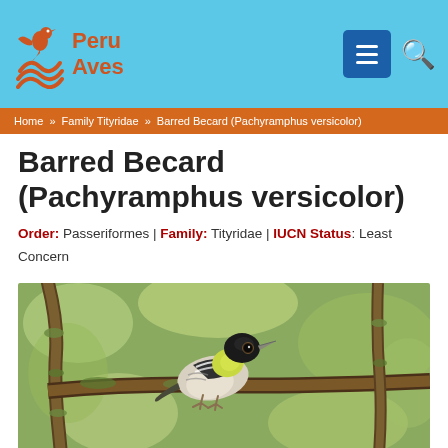Peru Aves
Home » Family Tityridae » Barred Becard (Pachyramphus versicolor)
Barred Becard (Pachyramphus versicolor)
Order: Passeriformes | Family: Tityridae | IUCN Status: Least Concern
[Figure (photo): Photo of a Barred Becard (Pachyramphus versicolor) bird perched on a branch, showing black cap, yellow-green throat, barred wings, and pale underparts, with blurred green foliage background.]